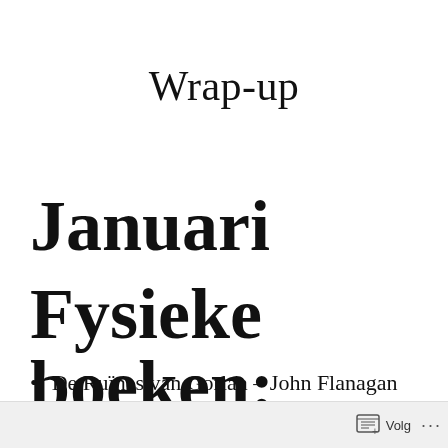Wrap-up
Januari
Fysieke boeken:
De Ruïnes van Gorlan – John Flanagan
Volg